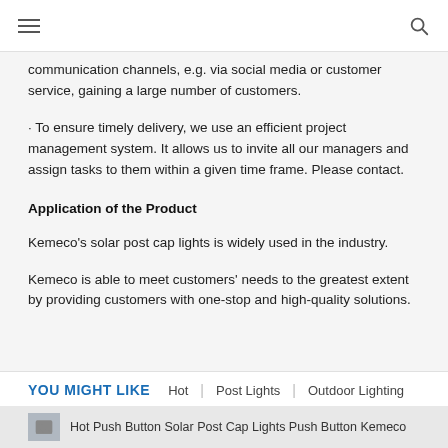Navigation header with hamburger menu and search icon
communication channels, e.g. via social media or customer service, gaining a large number of customers.
· To ensure timely delivery, we use an efficient project management system. It allows us to invite all our managers and assign tasks to them within a given time frame. Please contact.
Application of the Product
Kemeco's solar post cap lights is widely used in the industry.
Kemeco is able to meet customers' needs to the greatest extent by providing customers with one-stop and high-quality solutions.
YOU MIGHT LIKE   Hot   Post Lights   Outdoor Lighting
[Figure (photo): Hot Push Button Solar Post Cap Lights Push Button Kemeco thumbnail image at bottom of page]